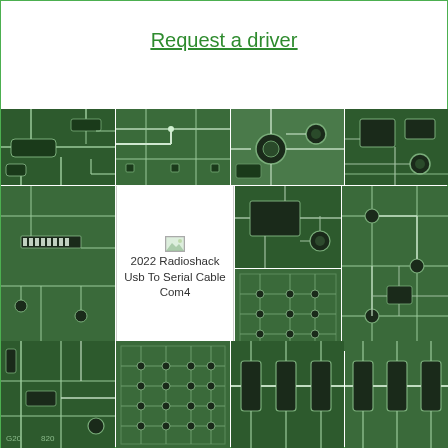Request a driver
[Figure (photo): Grid of circuit board close-up photographs showing green PCB traces, components, and solder points, with text overlay reading '2022 Radioshack Usb To Serial Cable Com4']